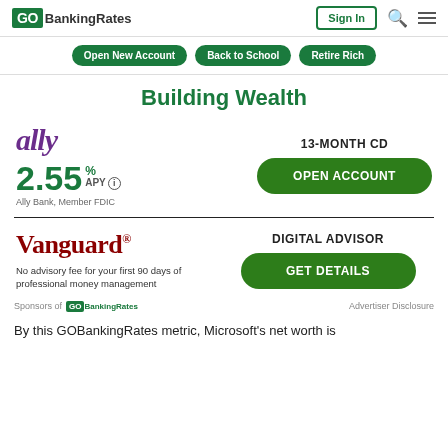GOBankingRates — Sign In
Open New Account
Back to School
Retire Rich
Building Wealth
[Figure (other): Ally bank ad — 13-Month CD, 2.55% APY, OPEN ACCOUNT button]
[Figure (other): Vanguard Digital Advisor ad — No advisory fee for your first 90 days of professional money management, GET DETAILS button]
Sponsors of GOBankingRates — Advertiser Disclosure
By this GOBankingRates metric, Microsoft's net worth is